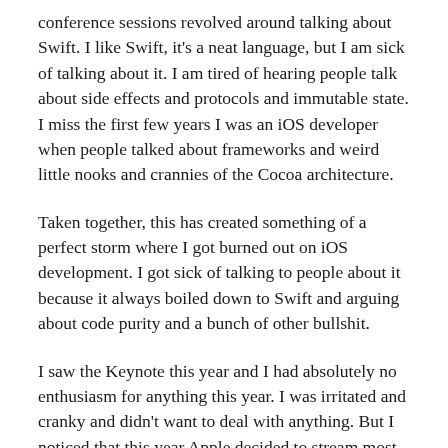conference sessions revolved around talking about Swift. I like Swift, it's a neat language, but I am sick of talking about it. I am tired of hearing people talk about side effects and protocols and immutable state. I miss the first few years I was an iOS developer when people talked about frameworks and weird little nooks and crannies of the Cocoa architecture.
Taken together, this has created something of a perfect storm where I got burned out on iOS development. I got sick of talking to people about it because it always boiled down to Swift and arguing about code purity and a bunch of other bullshit.
I saw the Keynote this year and I had absolutely no enthusiasm for anything this year. I was irritated and cranky and didn't want to deal with anything. But I noticed that this year Apple decided to stream most of the sessions live. The sessions were always available online later and last year they started showing select sessions. I watched the Swift ones